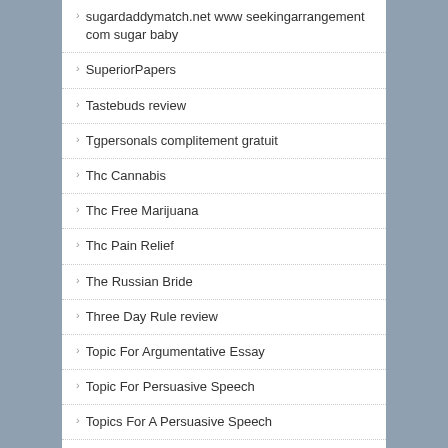sugardaddymatch.net www seekingarrangement com sugar baby
SuperiorPapers
Tastebuds review
Tgpersonals complitement gratuit
Thc Cannabis
Thc Free Marijuana
Thc Pain Relief
The Russian Bride
Three Day Rule review
Topic For Argumentative Essay
Topic For Persuasive Speech
Topics For A Persuasive Speech
Topics For Persuasive Essays
tx dallas seekingarrangement
type a paper for me